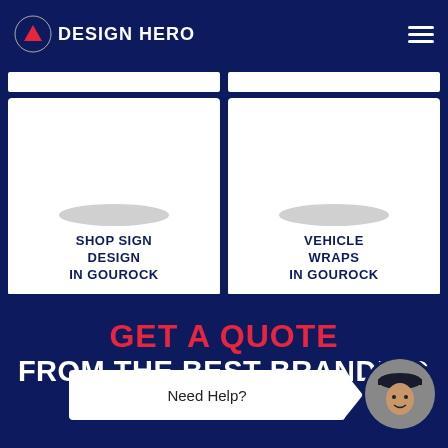DESIGN HERO
[Figure (screenshot): Two white card tiles in a 2-column grid. Left card: SHOP SIGN DESIGN IN GOUROCK. Right card: VEHICLE WRAPS IN GOUROCK. Above cards are two thin white bars.]
GET A QUOTE
FROM THE BEST BRANDING CO...
Need Help?